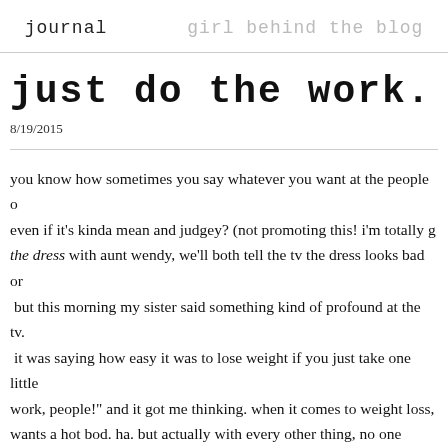journal   girl behind the blog
just do the work.
8/19/2015
you know how sometimes you say whatever you want at the people o even if it's kinda mean and judgey?  (not promoting this!  i'm totally g the dress with aunt wendy, we'll both tell the tv the dress looks bad or  but this morning my sister said something kind of profound at the tv.  it was saying how easy it was to lose weight if you just take one little work, people!"  and it got me thinking.  when it comes to weight loss, wants a hot bod. ha.  but actually with every other thing, no one wants three hours of studying every night, but straight "a"s, not the sweaty h of cleaning, just a neat room, not the work of a relationship, just the b